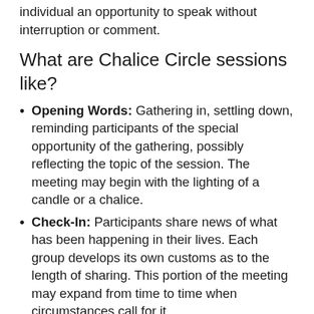individual an opportunity to speak without interruption or comment.
What are Chalice Circle sessions like?
Opening Words: Gathering in, settling down, reminding participants of the special opportunity of the gathering, possibly reflecting the topic of the session. The meeting may begin with the lighting of a candle or a chalice.
Check-In: Participants share news of what has been happening in their lives. Each group develops its own customs as to the length of sharing. This portion of the meeting may expand from time to time when circumstances call for it.
Topic/Discussion: A paragraph or two lays out a topic and presents questions that will elicit thoughtful discussion and significant reflection. A group may stay with a topic several weeks or be done in one evening.